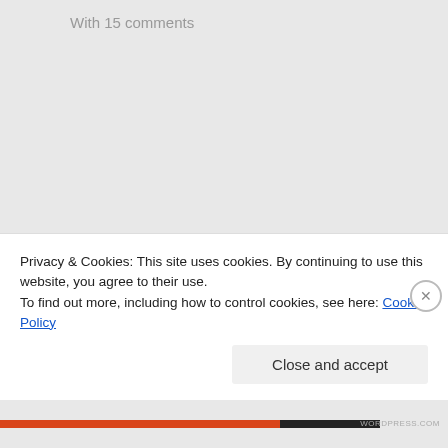With 15 comments
Published by The Lost Heart!
Hi Folks, my name is Niraj (Mumbai, India). A banker by profession, an extrovert and open person in communication by nature. What defines me - A person always in search of something! This quest of
[Figure (photo): Circular profile photo of a man in a blue tank top standing outdoors]
Privacy & Cookies: This site uses cookies. By continuing to use this website, you agree to their use.
To find out more, including how to control cookies, see here: Cookie Policy
Close and accept